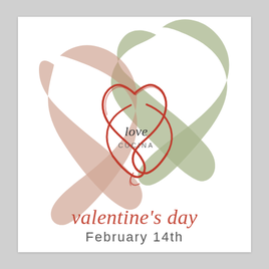[Figure (illustration): Three overlapping decorative hearts: a large muted rose/mauve heart on the left, a large sage/olive green heart in the upper right, and a smaller red hand-drawn outline heart in the center. In the center of the outline heart is the text 'love CUCINA' in a script/serif font.]
valentine's day
February 14th